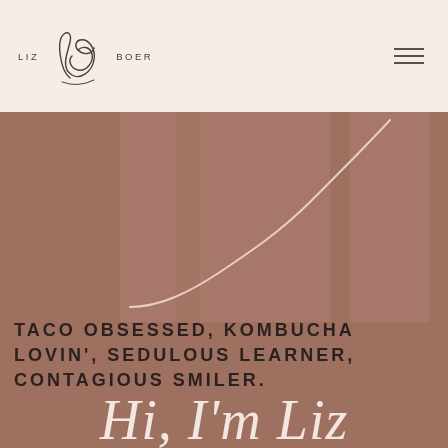LIZ BOER
[Figure (illustration): Decorative abstract S-curve line and muted brown architectural/vase shapes in background on a mauve-brown background]
TACO OBSESSED, KOMBUCHA LOVIN', SEDULOUS LEARNER, CONTAGIOUS SMILER.
Hi, I'm Liz